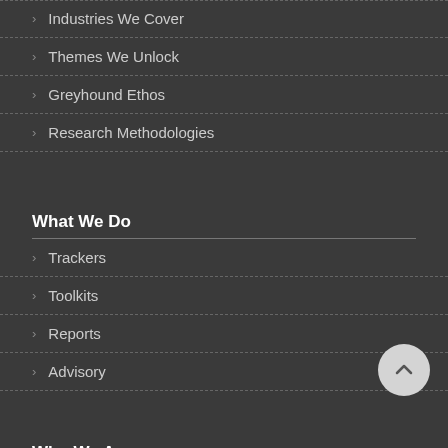Industries We Cover
Themes We Unlock
Greyhound Ethos
Research Methodologies
What We Do
Trackers
Toolkits
Reports
Advisory
Who We Are
Chief Analyst